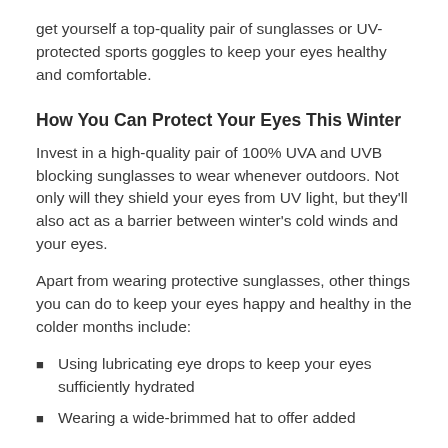get yourself a top-quality pair of sunglasses or UV-protected sports goggles to keep your eyes healthy and comfortable.
How You Can Protect Your Eyes This Winter
Invest in a high-quality pair of 100% UVA and UVB blocking sunglasses to wear whenever outdoors. Not only will they shield your eyes from UV light, but they'll also act as a barrier between winter's cold winds and your eyes.
Apart from wearing protective sunglasses, other things you can do to keep your eyes happy and healthy in the colder months include:
Using lubricating eye drops to keep your eyes sufficiently hydrated
Wearing a wide-brimmed hat to offer added